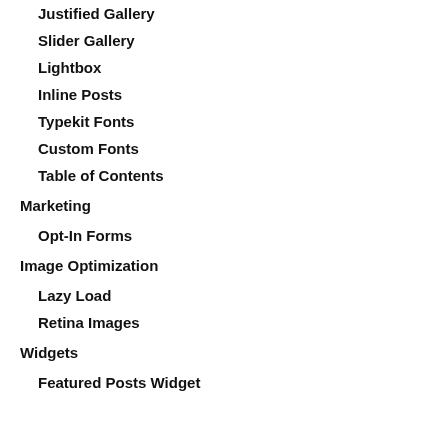Justified Gallery
Slider Gallery
Lightbox
Inline Posts
Typekit Fonts
Custom Fonts
Table of Contents
Marketing
Opt-In Forms
Image Optimization
Lazy Load
Retina Images
Widgets
Featured Posts Widget